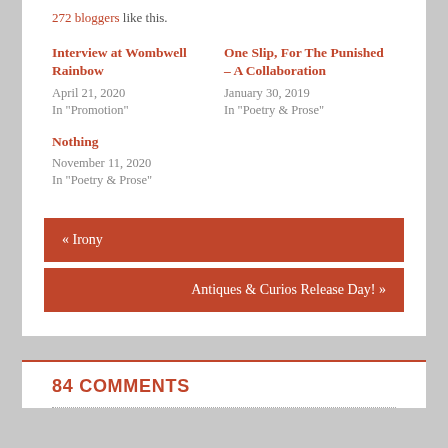272 bloggers like this.
Interview at Wombwell Rainbow
April 21, 2020
In "Promotion"
One Slip, For The Punished – A Collaboration
January 30, 2019
In "Poetry & Prose"
Nothing
November 11, 2020
In "Poetry & Prose"
« Irony
Antiques & Curios Release Day! »
84 COMMENTS